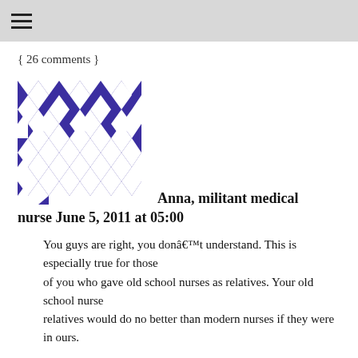≡
{ 26 comments }
[Figure (illustration): Avatar image with blue and white geometric pattern (diamonds and triangles)]
Anna, militant medical nurse June 5, 2011 at 05:00
You guys are right, you donât understand. This is especially true for those of you who gave old school nurses as relatives. Your old school nurse relatives would do no better than modern nurses if they were in ours.
After 10 years as an NHS staff nurse I am now working in the United Sta...